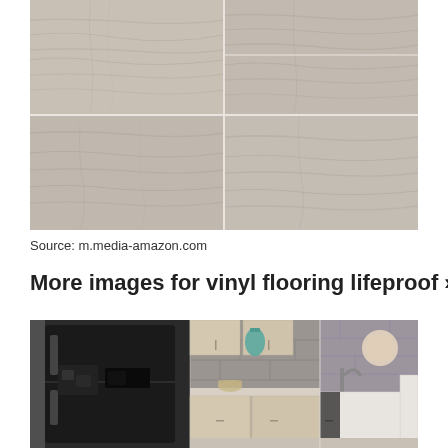[Figure (photo): Close-up photo of gray/beige wood-look vinyl flooring planks arranged in a grid pattern showing wood grain texture]
Source: m.media-amazon.com
More images for vinyl flooring lifeproof »
[Figure (photo): Kitchen scene showing a black French door refrigerator on the left, light wood cabinets in the middle, and a sink with stone backsplash on the right, with vinyl flooring visible]